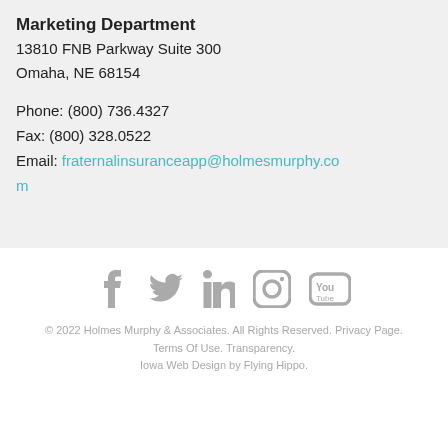Marketing Department
13810 FNB Parkway Suite 300
Omaha, NE 68154
Phone: (800) 736.4327
Fax: (800) 328.0522
Email: fraternalinsuranceapp@holmesmurphy.com
[Figure (other): Row of social media icons: Facebook, Twitter, LinkedIn, Instagram, YouTube — all in grey]
© 2022 Holmes Murphy & Associates. All Rights Reserved. Privacy Page. Terms Of Use. Transparency. Iowa Web Design by Flying Hippo.